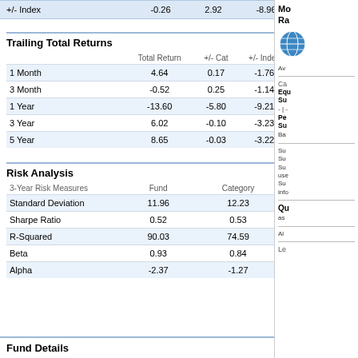| +/- Index |  |  |  |  |
| --- | --- | --- | --- | --- |
| +/- Index | -0.26 | 2.92 | -8.96 | -1.76 |
Trailing Total Returns
as at 31 Jul 2022
|  | Total Return | +/- Cat | +/- Index | Cat Rank |
| --- | --- | --- | --- | --- |
| 1 Month | 4.64 | 0.17 | -1.76 | 75 / 153 |
| 3 Month | -0.52 | 0.25 | -1.14 | 79 / 157 |
| 1 Year | -13.60 | -5.80 | -9.21 | 142 / 154 |
| 3 Year | 6.02 | -0.10 | -3.23 | 66 / 153 |
| 5 Year | 8.65 | -0.03 | -3.22 | 90 / 143 |
Risk Analysis
as at 31 Jul 2022
| 3-Year Risk Measures | Fund | Category | Index |
| --- | --- | --- | --- |
| Standard Deviation | 11.96 | 12.23 | 12.25 |
| Sharpe Ratio | 0.52 | 0.53 | 0.75 |
| R-Squared | 90.03 | 74.59 | -- |
| Beta | 0.93 | 0.84 | -- |
| Alpha | -2.37 | -1.27 | -- |
Fund Details